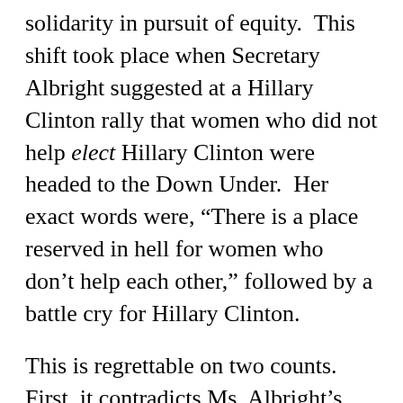solidarity in pursuit of equity.  This shift took place when Secretary Albright suggested at a Hillary Clinton rally that women who did not help elect Hillary Clinton were headed to the Down Under.  Her exact words were, “There is a place reserved in hell for women who don’t help each other,” followed by a battle cry for Hillary Clinton.
This is regrettable on two counts.  First, it contradicts Ms. Albright’s own words.  You may recall that, during the 2008 presidential campaign, then vice presidential candidate Sarah Palin attempted to use those words of Secretary Albright for her own political purposes.  At that time, Secretary Albright pushed back and said, “Though I am flattered that Vice Presidential Candidate Governor Palin has